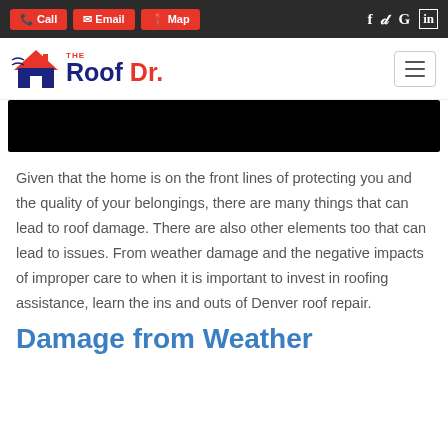Call | Email | Map | [social icons: Facebook, Twitter, Google, LinkedIn]
[Figure (logo): The Roof Dr. logo with house icon and hamburger menu]
[Figure (photo): Black hero image banner]
Given that the home is on the front lines of protecting you and the quality of your belongings, there are many things that can lead to roof damage. There are also other elements too that can lead to issues. From weather damage and the negative impacts of improper care to when it is important to invest in roofing assistance, learn the ins and outs of Denver roof repair.
Damage from Weather